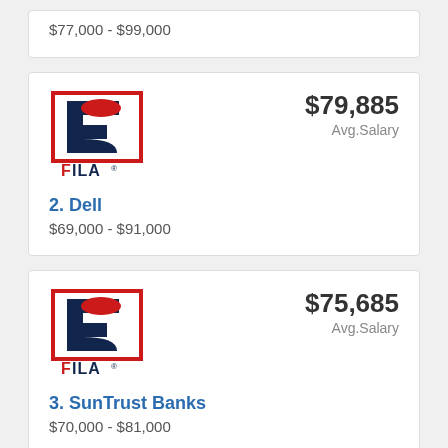$77,000 - $99,000
[Figure (logo): FILA logo - navy F letter in red-bordered square with FILA text below]
$79,885 Avg.Salary
2. Dell
$69,000 - $91,000
[Figure (logo): FILA logo - navy F letter in red-bordered square with FILA text below]
$75,685 Avg.Salary
3. SunTrust Banks
$70,000 - $81,000